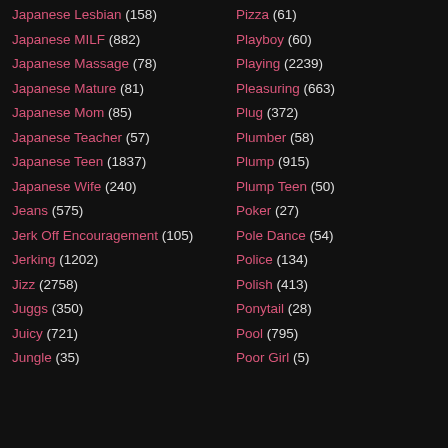Japanese Lesbian (158)
Japanese MILF (882)
Japanese Massage (78)
Japanese Mature (81)
Japanese Mom (85)
Japanese Teacher (57)
Japanese Teen (1837)
Japanese Wife (240)
Jeans (575)
Jerk Off Encouragement (105)
Jerking (1202)
Jizz (2758)
Juggs (350)
Juicy (721)
Jungle (35)
Pizza (61)
Playboy (60)
Playing (2239)
Pleasuring (663)
Plug (372)
Plumber (58)
Plump (915)
Plump Teen (50)
Poker (27)
Pole Dance (54)
Police (134)
Polish (413)
Ponytail (28)
Pool (795)
Poor Girl (5)